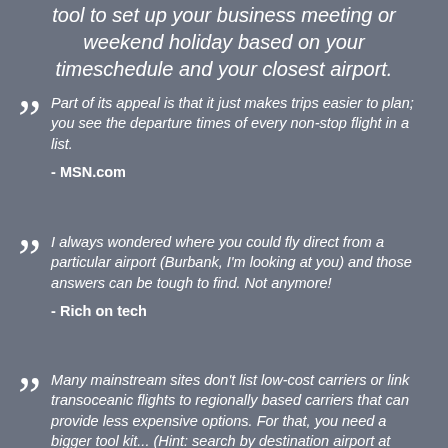tool to set up your business meeting or weekend holiday based on your timeschedule and your closest airport.
Part of its appeal is that it just makes trips easier to plan; you see the departure times of every non-stop flight in a list.

- MSN.com
I always wondered where you could fly direct from a particular airport (Burbank, I'm looking at you) and those answers can be tough to find. Not anymore!

- Rich on tech
Many mainstream sites don't list low-cost carriers or link transoceanic flights to regionally based carriers that can provide less expensive options. For that, you need a bigger tool kit... (Hint: search by destination airport at